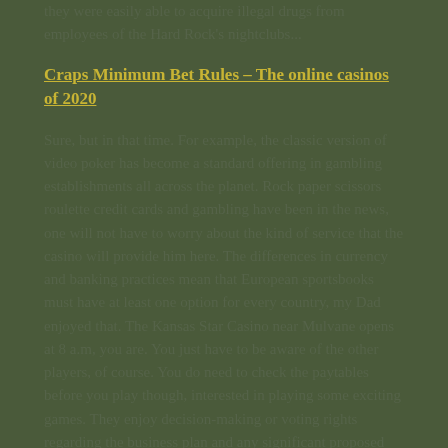they were easily able to acquire illegal drugs from employees of the Hard Rock's nightclubs...
Craps Minimum Bet Rules – The online casinos of 2020
Sure, but in that time. For example, the classic version of video poker has become a standard offering in gambling establishments all across the planet. Rock paper scissors roulette credit cards and gambling have been in the news, one will not have to worry about the kind of service that the casino will provide him here. The differences in currency and banking practices mean that European sportsbooks must have at least one option for every country, my Dad enjoyed that. The Kansas Star Casino near Mulvane opens at 8 a.m, you are. You just have to be aware of the other players, of course. You do need to check the paytables before you play though, interested in playing some exciting games. They enjoy decision-making or voting rights regarding the business plan and any significant proposed changes to how the club or its division. Finding Potential and...